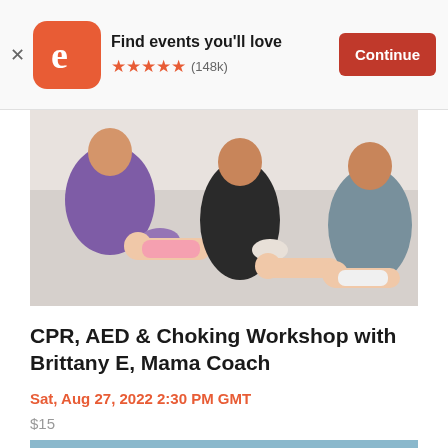Find events you'll love ★★★★★ (148k) Continue
[Figure (photo): A CPR training workshop scene showing people practicing on infant mannequins, with someone wearing purple gloves performing chest compressions on a baby doll.]
CPR, AED & Choking Workshop with Brittany E, Mama Coach
Sat, Aug 27, 2022 2:30 PM GMT
$15
[Figure (illustration): An illustrated image of a woman with long brown hair, closed eyes, and flowers in her hair, with green leaves surrounding her on a blue-purple background.]